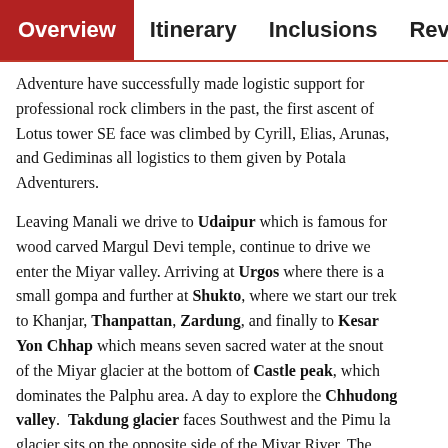Overview | Itinerary | Inclusions | Reviews | Ph...
Adventure have successfully made logistic support for professional rock climbers in the past, the first ascent of Lotus tower SE face was climbed by Cyrill, Elias, Arunas, and Gediminas all logistics to them given by Potala Adventurers.
Leaving Manali we drive to Udaipur which is famous for wood carved Margul Devi temple, continue to drive we enter the Miyar valley. Arriving at Urgos where there is a small gompa and further at Shukto, where we start our trek to Khanjar, Thanpattan, Zardung, and finally to Kesar Yon Chhap which means seven sacred water at the snout of the Miyar glacier at the bottom of Castle peak, which dominates the Palphu area. A day to explore the Chhudong valley. Takdung glacier faces Southwest and the Pimu la glacier sits on the opposite side of the Miyar River. The well-known peaks in Miyar valley are Mt. Menthosa (6,443 m), Tharung I, II & III, and Phobrang (6,172 m)...